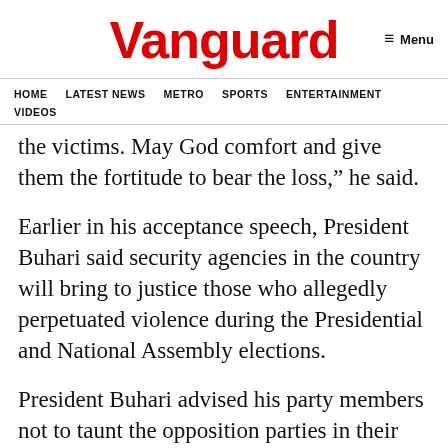Vanguard
HOME  LATEST NEWS  METRO  SPORTS  ENTERTAINMENT  VIDEOS
the victims. May God comfort and give them the fortitude to bear the loss,” he said.
Earlier in his acceptance speech, President Buhari said security agencies in the country will bring to justice those who allegedly perpetuated violence during the Presidential and National Assembly elections.
President Buhari advised his party members not to taunt the opposition parties in their celebration, saying that victory was enough